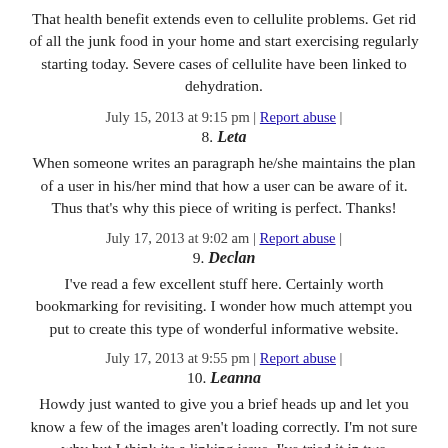That health benefit extends even to cellulite problems. Get rid of all the junk food in your home and start exercising regularly starting today. Severe cases of cellulite have been linked to dehydration.
July 15, 2013 at 9:15 pm | Report abuse |
8. Leta
When someone writes an paragraph he/she maintains the plan of a user in his/her mind that how a user can be aware of it. Thus that's why this piece of writing is perfect. Thanks!
July 17, 2013 at 9:02 am | Report abuse |
9. Declan
I've read a few excellent stuff here. Certainly worth bookmarking for revisiting. I wonder how much attempt you put to create this type of wonderful informative website.
July 17, 2013 at 9:55 pm | Report abuse |
10. Leanna
Howdy just wanted to give you a brief heads up and let you know a few of the images aren't loading correctly. I'm not sure why but I think its a linking issue. I've tried it in two